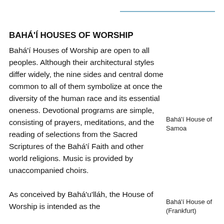BAHÁ'Í HOUSES OF WORSHIP
Bahá'í Houses of Worship are open to all peoples. Although their architectural styles differ widely, the nine sides and central dome common to all of them symbolize at once the diversity of the human race and its essential oneness. Devotional programs are simple, consisting of prayers, meditations, and the reading of selections from the Sacred Scriptures of the Bahá'í Faith and other world religions. Music is provided by unaccompanied choirs.
Bahá'í House of Samoa
As conceived by Bahá'u'lláh, the House of Worship is intended as the
Bahá'í House of (Frankfurt)